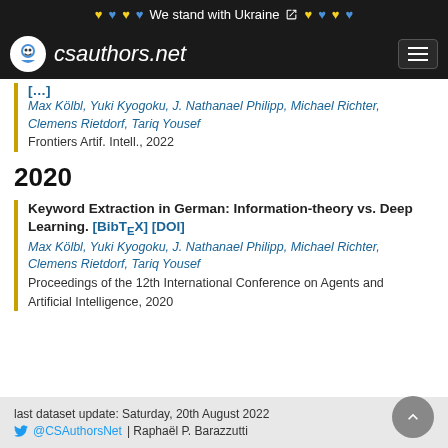💛💙💛💙 We stand with Ukraine 💛💙💛💙
[Figure (logo): csauthors.net logo with circular avatar icon and hamburger menu]
[...]
Max Kölbl, Yuki Kyogoku, J. Nathanael Philipp, Michael Richter, Clemens Rietdorf, Tariq Yousef
Frontiers Artif. Intell., 2022
2020
Keyword Extraction in German: Information-theory vs. Deep Learning. [BibTeX] [DOI]
Max Kölbl, Yuki Kyogoku, J. Nathanael Philipp, Michael Richter, Clemens Rietdorf, Tariq Yousef
Proceedings of the 12th International Conference on Agents and Artificial Intelligence, 2020
last dataset update: Saturday, 20th August 2022
🐦 @CSAuthorsNet | Raphaël P. Barazzutti